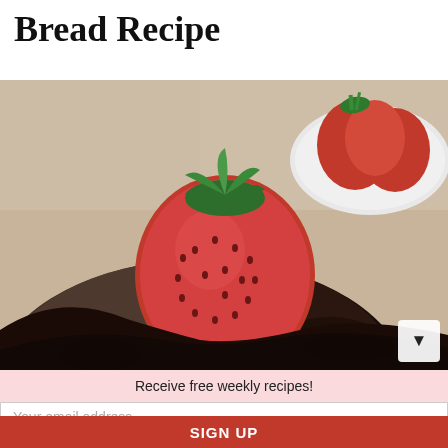Bread Recipe
[Figure (photo): Close-up photo of a fresh strawberry placed on top of a dark chocolate bread loaf, with a white bowl of strawberries visible in the background]
Receive free weekly recipes!
Your email address..
SIGN UP